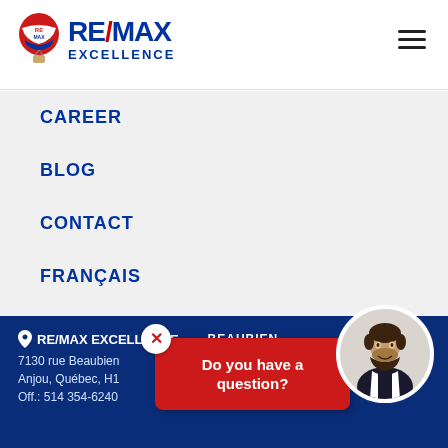[Figure (logo): RE/MAX Excellence logo with hot air balloon and text]
CAREER
BLOG
CONTACT
FRANÇAIS
RE/MAX EXCELLENCE BEAUBIEN
7130 rue Beaubien
Anjou, Québec, H1
Off.: 514 354-6240
Do you have a question?
[Figure (photo): Agent headshot in circular frame]